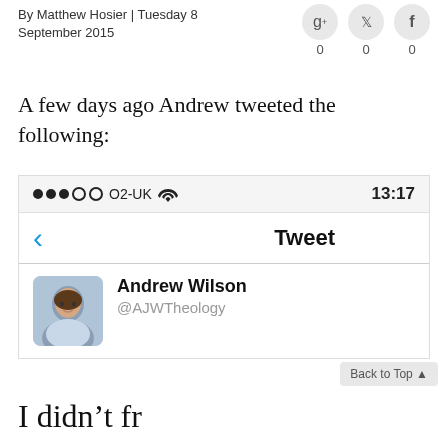By Matthew Hosier | Tuesday 8 September 2015
[Figure (screenshot): Social share buttons for Google+, Twitter, Facebook each showing count of 0]
A few days ago Andrew tweeted the following:
[Figure (screenshot): Mobile phone screenshot showing O2-UK carrier, WiFi signal, time 13:17, back arrow, Tweet header, and Andrew Wilson @AJWTheology Twitter profile]
Back to Top
I didn't fr...